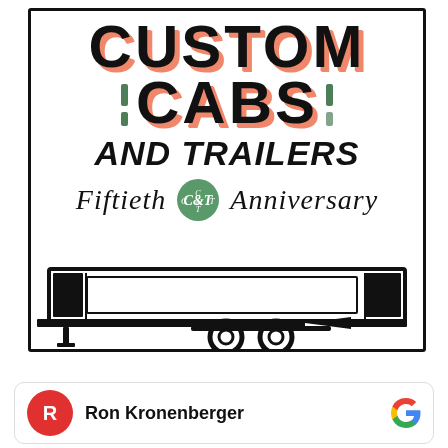[Figure (logo): Custom Cabs and Trailers Fiftieth Anniversary logo — large bold serif/display text 'CUSTOM CABS AND TRAILERS' with peach/salmon shadow and green tick marks, script 'Fiftieth Anniversary' text with green CC&T badge, trailer silhouette at bottom, all inside a rectangular border]
Ron Kronenberger